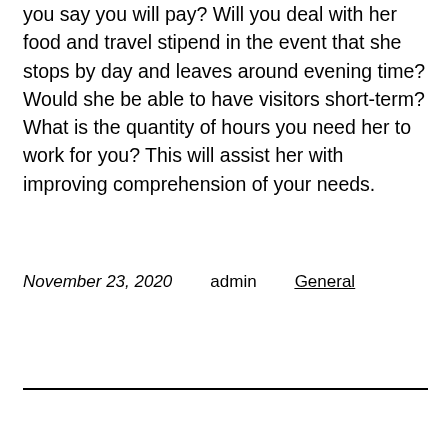you say you will pay? Will you deal with her food and travel stipend in the event that she stops by day and leaves around evening time? Would she be able to have visitors short-term? What is the quantity of hours you need her to work for you? This will assist her with improving comprehension of your needs.
November 23, 2020   admin   General